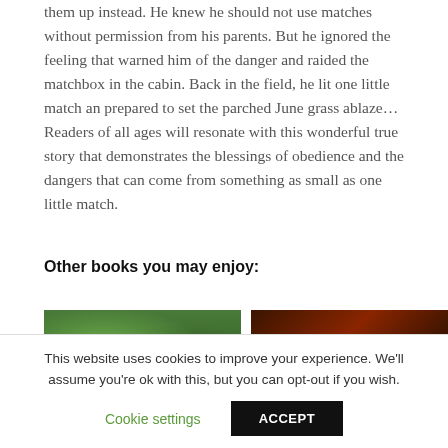them up instead. He knew he should not use matches without permission from his parents. But he ignored the feeling that warned him of the danger and raided the matchbox in the cabin. Back in the field, he lit one little match an prepared to set the parched June grass ablaze… Readers of all ages will resonate with this wonderful true story that demonstrates the blessings of obedience and the dangers that can come from something as small as one little match.
Other books you may enjoy:
[Figure (photo): Thumbnail of a book cover showing green foliage/forest scene]
[Figure (photo): Thumbnail of a book cover with dark red tones and white text reading 'THE']
This website uses cookies to improve your experience. We'll assume you're ok with this, but you can opt-out if you wish.
Cookie settings   ACCEPT